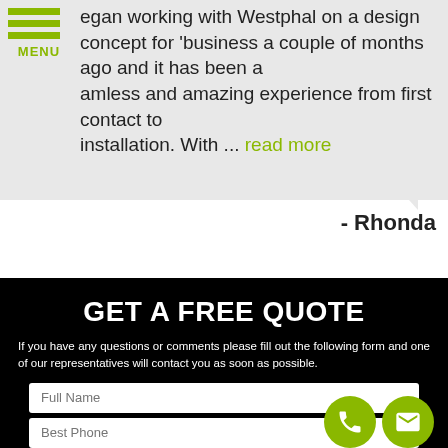MENU
egan working with Westphal on a design concept for business a couple of months ago and it has been a amless and amazing experience from first contact to installation. With ... read more
- Rhonda
GET A FREE QUOTE
If you have any questions or comments please fill out the following form and one of our representatives will contact you as soon as possible.
Full Name
Best Phone
Email Address